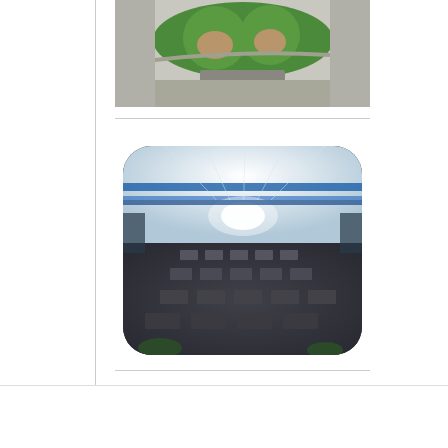[Figure (photo): Aerial view of baseball/softball fields with green turf, circular or oval layout, viewed from above]
[Figure (photo): Interior of a large indoor facility with high ceilings, blue accent beams, wide open floor space with workstations/tables arranged in rows, bright lighting]
PREVIOUS POST  Recreation Center Rec... | NEXT POST  How Good Facility Plan...